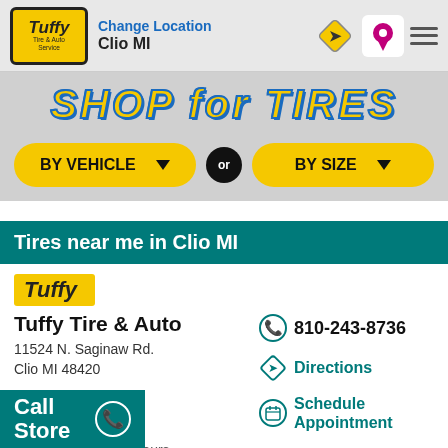Change Location Clio MI
SHOP FOR TIRES
BY VEHICLE ▼   OR   BY SIZE ▼
Tires near me in Clio MI
[Figure (logo): Tuffy Tire & Auto Service logo on yellow background]
Tuffy Tire & Auto
11524 N. Saginaw Rd.
Clio MI 48420
☑Change Store
810-243-8736
Directions
Schedule Appointment
Open at 9:00AM - Hours ▼
Call Store